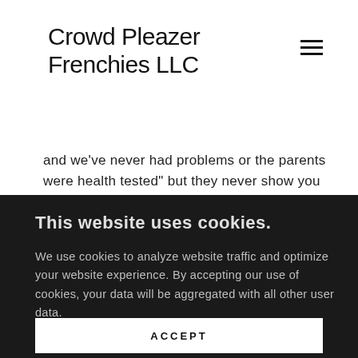Crowd Pleazer Frenchies LLC
and we've never had problems or the parents were health tested" but they never show you the tests and if you dig a little, turns out there hasn't been a health test in 3+ generations. Don't accept less! A legitimate,
This website uses cookies.
We use cookies to analyze website traffic and optimize your website experience. By accepting our use of cookies, your data will be aggregated with all other user data.
ACCEPT